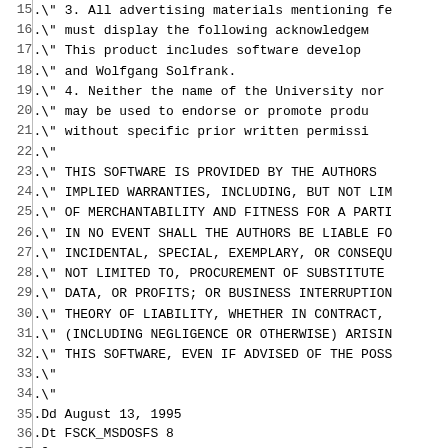Source code listing lines 15-44, showing license text and man page macros for fsck_msdosfs